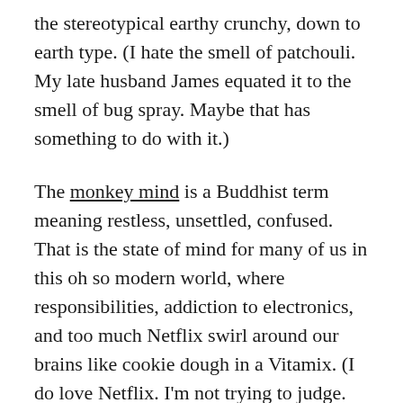the stereotypical earthy crunchy, down to earth type. (I hate the smell of patchouli. My late husband James equated it to the smell of bug spray. Maybe that has something to do with it.)
The monkey mind is a Buddhist term meaning restless, unsettled, confused. That is the state of mind for many of us in this oh so modern world, where responsibilities, addiction to electronics, and too much Netflix swirl around our brains like cookie dough in a Vitamix. (I do love Netflix. I'm not trying to judge. Hhmmm...now I want a cookie.)